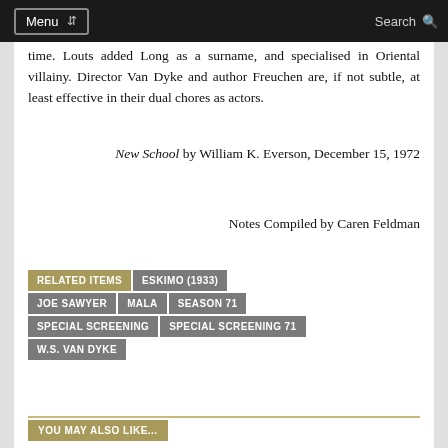Menu | Search
time. Louts added Long as a surname, and specialised in Oriental villainy. Director Van Dyke and author Freuchen are, if not subtle, at least effective in their dual chores as actors.
New School by William K. Everson, December 15, 1972
Notes Compiled by Caren Feldman
RELATED ITEMS
ESKIMO (1933)
JOE SAWYER
MALA
SEASON 71
SPECIAL SCREENING
SPECIAL SCREENING 71
W.S. VAN DYKE
YOU MAY ALSO LIKE...
Sergeant York (1941)